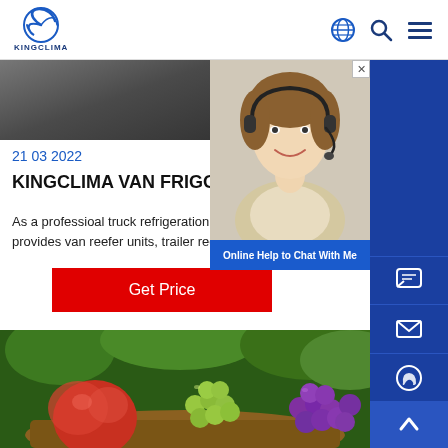[Figure (logo): KingClima company logo with stylized C icon and KINGCLIMA text]
[Figure (screenshot): Navigation icons: globe, search, hamburger menu]
[Figure (photo): Dark banner image, appears to be a vehicle interior or dark background]
21 03 2022
KINGCLIMA VAN FRIGO UNITS
As a professioal truck refrigeration unit man also provides van reefer units, trailer reefer units, and...
[Figure (infographic): Red Get Price button]
[Figure (photo): Photo of fresh fruits in a basket including apples, grapes, and other produce]
[Figure (photo): Chat widget showing a woman with headset and Online Help to Chat With Me bar]
[Figure (other): Right sidebar with blue background and icons for chat, email, WhatsApp, and scroll-up button]